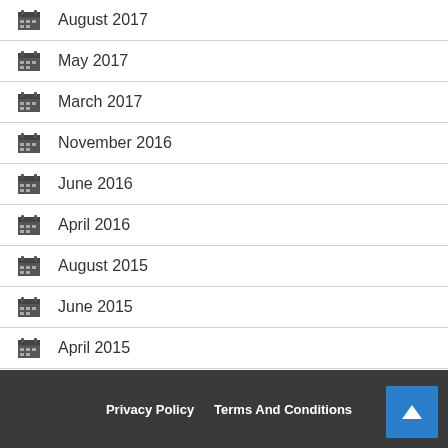August 2017
May 2017
March 2017
November 2016
June 2016
April 2016
August 2015
June 2015
April 2015
July 2014
Privacy Policy   Terms And Conditions